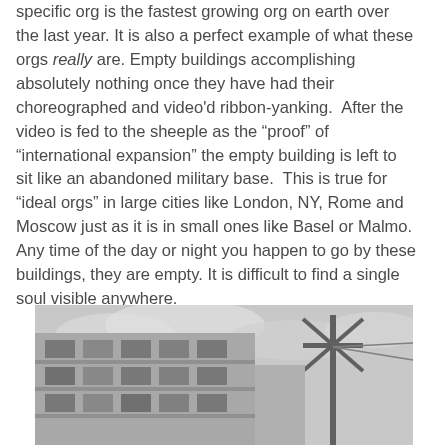specific org is the fastest growing org on earth over the last year. It is also a perfect example of what these orgs really are. Empty buildings accomplishing absolutely nothing once they have had their choreographed and video'd ribbon-yanking.  After the video is fed to the sheeple as the “proof” of “international expansion” the empty building is left to sit like an abandoned military base.  This is true for “ideal orgs” in large cities like London, NY, Rome and Moscow just as it is in small ones like Basel or Malmo. Any time of the day or night you happen to go by these buildings, they are empty. It is difficult to find a single soul visible anywhere.
[Figure (photo): Black and white photo of a multi-story building facade with a large cross/star-shaped metal structure on the right side, against an overcast sky.]